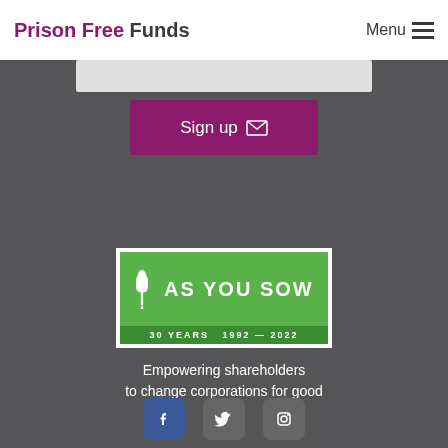Prison Free Funds  Menu
[Figure (logo): As You Sow 30 Years 1992-2022 logo with plant icon on green background]
Empowering shareholders to change corporations for good
[Figure (illustration): Social media icons: Facebook, Twitter, Instagram]